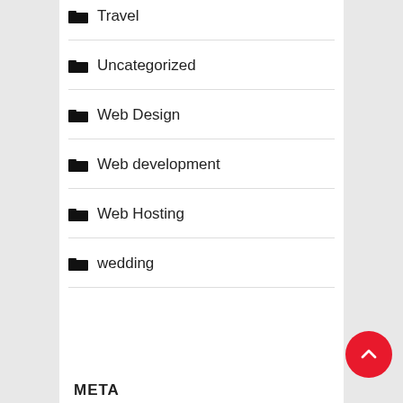Travel
Uncategorized
Web Design
Web development
Web Hosting
wedding
META
Log in
Entries feed